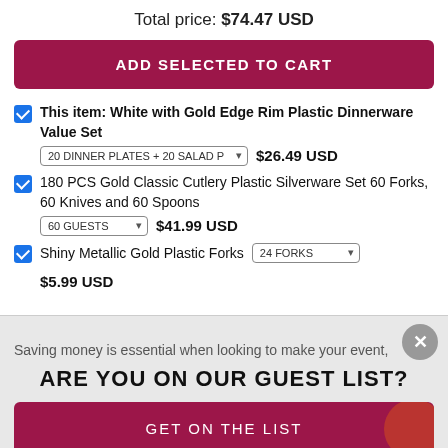Total price: $74.47 USD
ADD SELECTED TO CART
This item: White with Gold Edge Rim Plastic Dinnerware Value Set | 20 DINNER PLATES + 20 SALAD P... | $26.49 USD
180 PCS Gold Classic Cutlery Plastic Silverware Set 60 Forks, 60 Knives and 60 Spoons | 60 GUESTS | $41.99 USD
Shiny Metallic Gold Plastic Forks | 24 FORKS | $5.99 USD
Saving money is essential when looking to make your event,
ARE YOU ON OUR GUEST LIST?
GET ON THE LIST